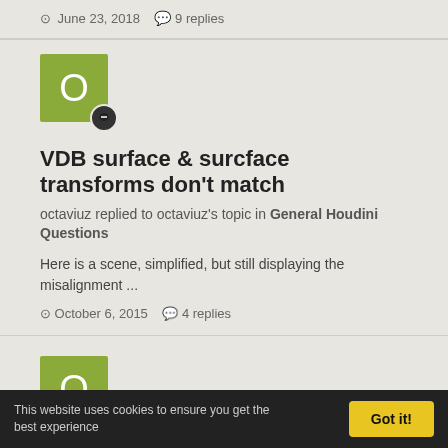June 23, 2018   9 replies
[Figure (illustration): User avatar: green square with letter O and a speech bubble badge]
VDB surface & surcface transforms don't match
octaviuz replied to octaviuz's topic in General Houdini Questions
Here is a scene, simplified, but still displaying the misalignment ...
October 6, 2015   4 replies
[Figure (illustration): User avatar: green square with letter O and a speech bubble badge]
VDB surface & surcface transforms don't match
octaviuz posted a topic in General Houdini Questions
This website uses cookies to ensure you get the best experience